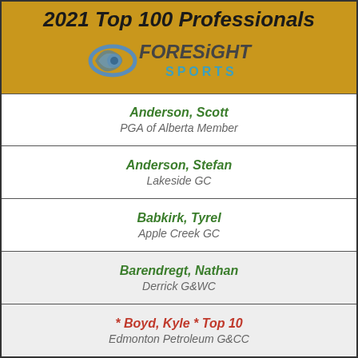2021 Top 100 Professionals
[Figure (logo): Foresight Sports logo with stylized eye/swoosh graphic and text 'FORESIGHT SPORTS']
Anderson, Scott
PGA of Alberta Member
Anderson, Stefan
Lakeside GC
Babkirk, Tyrel
Apple Creek GC
Barendregt, Nathan
Derrick G&WC
* Boyd, Kyle * Top 10
Edmonton Petroleum G&CC